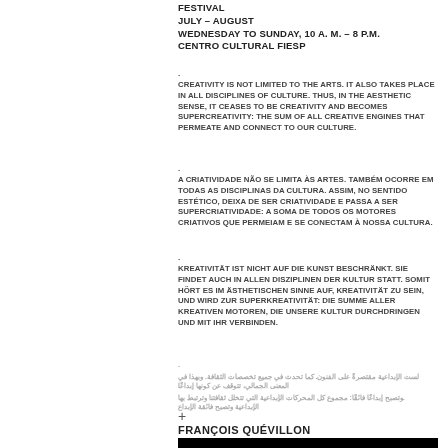FESTIVAL
JULY – AUGUST
WEDNESDAY TO SUNDAY, 10 A. M. – 8 P.M.
CENTRO CULTURAL FIESP
. CREATIVITY IS NOT LIMITED TO THE ARTS. IT ALSO TAKES PLACE IN ALL DISCIPLINES OF CULTURE. THUS, IN THE AESTHETIC SENSE, IT CEASES TO BE CREATIVITY AND BECOMES SUPERCREATIVITY: THE SUM OF ALL CREATIVE ENGINES THAT PERMEATE AND CONNECT TO OUR CULTURE.
. A CRIATIVIDADE NÃO SE LIMITA ÀS ARTES. TAMBÉM OCORRE EM TODAS AS DISCIPLINAS DA CULTURA. ASSIM, NO SENTIDO ESTÉTICO, DEIXA DE SER CRIATIVIDADE E PASSA A SER SUPERCRIATIVIDADE: A SOMA DE TODOS OS MOTORES CRIATIVOS QUE PERMEIAM E SE CONECTAM À NOSSA CULTURA.
. KREATIVITÄT IST NICHT AUF DIE KUNST BESCHRÄNKT. SIE FINDET AUCH IN ALLEN DISZIPLINEN DER KULTUR STATT. SOMIT HÖRT ES IM ÄSTHETISCHEN SINNE AUF, KREATIVITÄT ZU SEIN, UND WIRD ZUR SUPERKREATIVITÄT: DIE SUMME ALLER KREATIVEN MOTOREN, DIE UNSERE KULTUR DURCHDRINGEN UND MIT IHR VERBINDEN.
. [Arabic text line 1]
. [Arabic text line 2]
+
FRANÇOIS QUÉVILLON
[Figure (photo): Black image/photograph area at bottom of page]